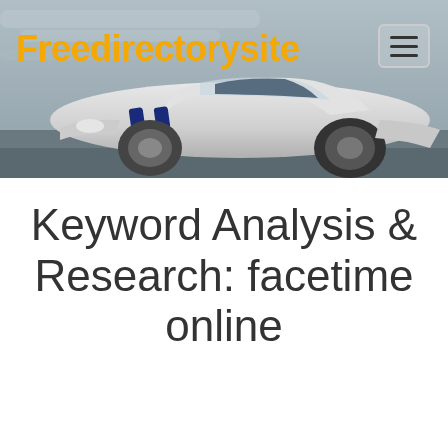[Figure (screenshot): Website header banner with a white sports car with blue racing stripes on a grey blurred background. Site logo 'Freedirectorysite' in orange bold text on the left, and a hamburger menu icon in the top right corner.]
Keyword Analysis & Research: facetime online